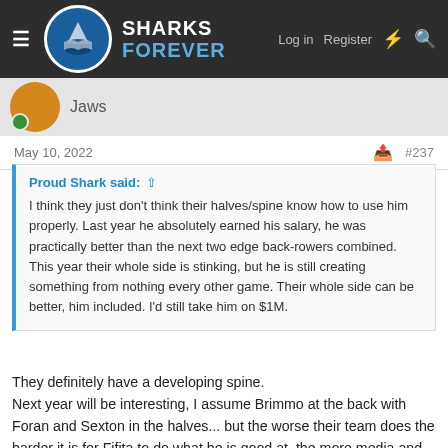Sharks Forever — Log in  Register
Jaws
May 10, 2022   #237
Proud Shark said: ↑

I think they just don't think their halves/spine know how to use him properly. Last year he absolutely earned his salary, he was practically better than the next two edge back-rowers combined. This year their whole side is stinking, but he is still creating something from nothing every other game. Their whole side can be better, him included. I'd still take him on $1M.
They definitely have a developing spine.
Next year will be interesting, I assume Brimmo at the back with Foran and Sexton in the halves... but the worse their team does the harder it is for Fifita to do what he is good at, the more media and fans pressure for him to do more given the cash he's on. He can't run at a retreating defence from 30 out if they never win field position and ruck battles, and moving him to centre doesn't fix that.